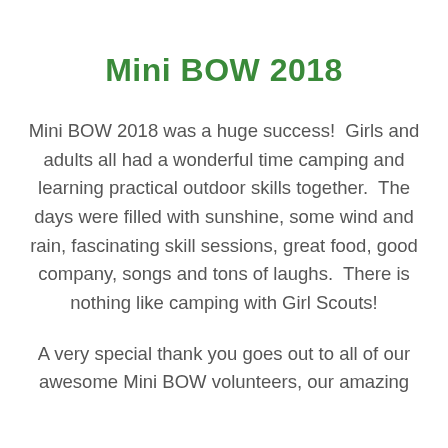Mini BOW 2018
Mini BOW 2018 was a huge success!  Girls and adults all had a wonderful time camping and learning practical outdoor skills together.  The days were filled with sunshine, some wind and rain, fascinating skill sessions, great food, good company, songs and tons of laughs.  There is nothing like camping with Girl Scouts!
A very special thank you goes out to all of our awesome Mini BOW volunteers, our amazing